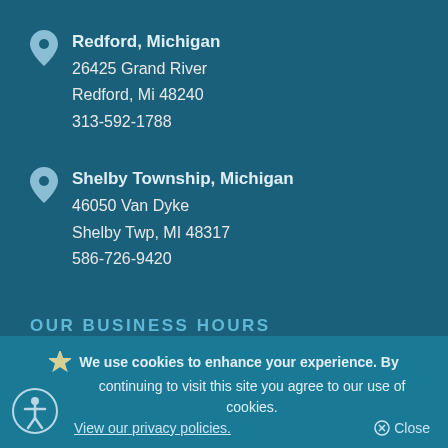Redford, Michigan
26425 Grand River
Redford, Mi 48240
313-592-1788
Shelby Township, Michigan
46050 Van Dyke
Shelby Twp, MI 48317
586-726-9420
OUR BUSINESS HOURS
We use cookies to enhance your experience. By continuing to visit this site you agree to our use of cookies. View our privacy policies. Close